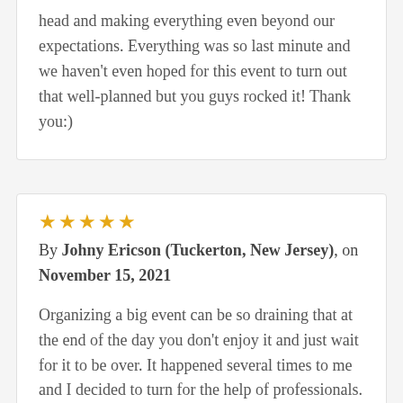head and making everything even beyond our expectations. Everything was so last minute and we haven't even hoped for this event to turn out that well-planned but you guys rocked it! Thank you:)
★★★★★
By Johny Ericson (Tuckerton, New Jersey), on November 15, 2021
Organizing a big event can be so draining that at the end of the day you don't enjoy it and just wait for it to be over. It happened several times to me and I decided to turn for the help of professionals. The Visual Comet did everything so neatly and handled everything